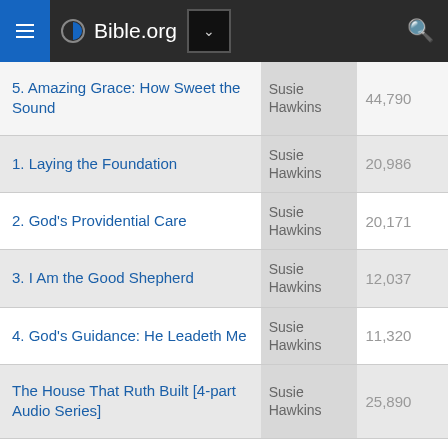Bible.org
| Title | Author | Count |
| --- | --- | --- |
| 5. Amazing Grace: How Sweet the Sound | Susie Hawkins | 44,790 |
| 1. Laying the Foundation | Susie Hawkins | 20,986 |
| 2. God's Providential Care | Susie Hawkins | 20,171 |
| 3. I Am the Good Shepherd | Susie Hawkins | 12,037 |
| 4. God's Guidance: He Leadeth Me | Susie Hawkins | 11,320 |
| The House That Ruth Built [4-part Audio Series] | Susie Hawkins | 25,890 |